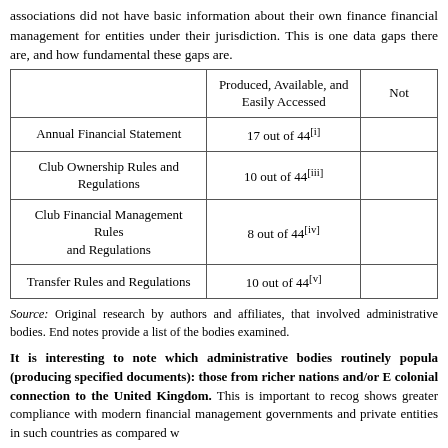associations did not have basic information about their own finance financial management for entities under their jurisdiction. This is one data gaps there are, and how fundamental these gaps are.
|  | Produced, Available, and Easily Accessed | Not |
| --- | --- | --- |
| Annual Financial Statement | 17 out of 44[i] |  |
| Club Ownership Rules and Regulations | 10 out of 44[iii] |  |
| Club Financial Management Rules and Regulations | 8 out of 44[iv] |  |
| Transfer Rules and Regulations | 10 out of 44[v] |  |
Source: Original research by authors and affiliates, that involved administrative bodies. End notes provide a list of the bodies examined.
It is interesting to note which administrative bodies routinely populate (producing specified documents): those from richer nations and/or E colonial connection to the United Kingdom. This is important to recog shows greater compliance with modern financial management governments and private entities in such countries as compared w